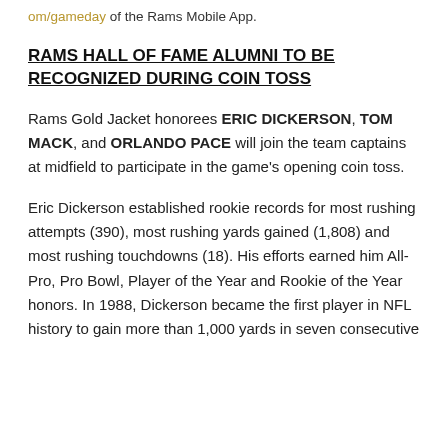om/gameday of the Rams Mobile App.
RAMS HALL OF FAME ALUMNI TO BE RECOGNIZED DURING COIN TOSS
Rams Gold Jacket honorees ERIC DICKERSON, TOM MACK, and ORLANDO PACE will join the team captains at midfield to participate in the game's opening coin toss.
Eric Dickerson established rookie records for most rushing attempts (390), most rushing yards gained (1,808) and most rushing touchdowns (18). His efforts earned him All-Pro, Pro Bowl, Player of the Year and Rookie of the Year honors. In 1988, Dickerson became the first player in NFL history to gain more than 1,000 yards in seven consecutive